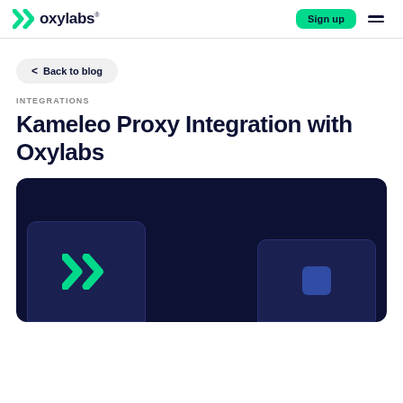oxylabs  Sign up
< Back to blog
INTEGRATIONS
Kameleo Proxy Integration with Oxylabs
[Figure (illustration): Dark navy hero image showing two rounded card panels side by side; left card has a large green Kameleo checkmark/X logo, right card is partially visible at the edge. Overall dark background with rounded corners.]